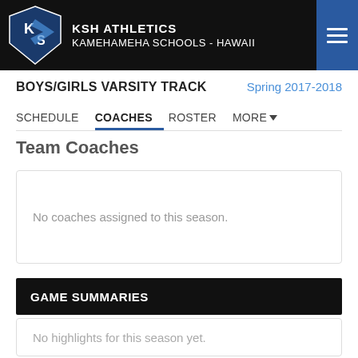KSH ATHLETICS KAMEHAMEHA SCHOOLS - HAWAII
BOYS/GIRLS VARSITY TRACK Spring 2017-2018
SCHEDULE COACHES ROSTER MORE
Team Coaches
No coaches assigned to this season.
GAME SUMMARIES
No highlights for this season yet.